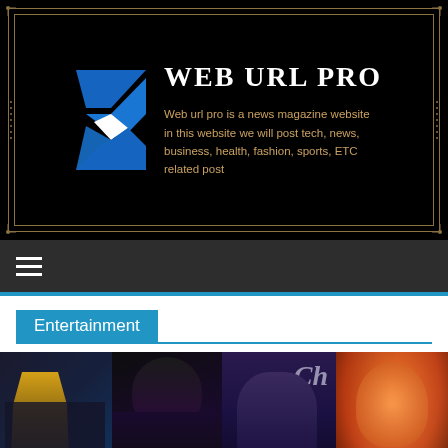[Figure (logo): Web URL Pro logo banner: black background with gold decorative border, Flutter-style blue chevron logo icon on left, 'WEB URL PRO' in white serif text, and description text in gold/brown: 'Web url pro is a news magazine website in this website we will post tech, news, business, health, fashion, sports, ETC related post']
[Figure (screenshot): Dark grey navigation bar with white hamburger menu icon (three horizontal lines) on the left side]
Entertainment
[Figure (photo): Anime manga collage image strip showing multiple colorful anime characters including blonde, dark-haired characters, and orange-haired characters; partially visible 'CHAINSAW' text on rightmost panel]